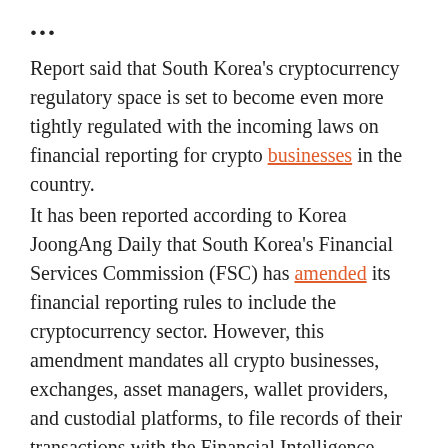...
Report said that South Korea's cryptocurrency regulatory space is set to become even more tightly regulated with the incoming laws on financial reporting for crypto businesses in the country.
It has been reported according to Korea JoongAng Daily that South Korea's Financial Services Commission (FSC) has amended its financial reporting rules to include the cryptocurrency sector. However, this amendment mandates all crypto businesses, exchanges, asset managers, wallet providers, and custodial platforms, to file records of their transactions with the Financial Intelligence Unit.
The report said that the FIU is an arm of